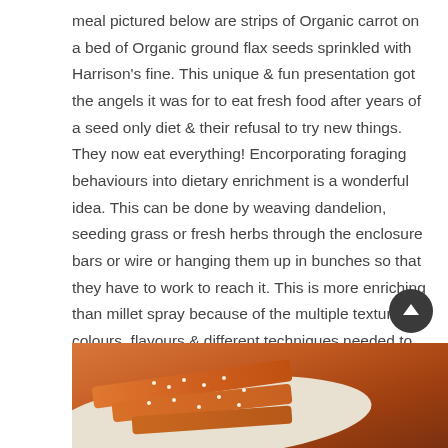meal pictured below are strips of Organic carrot on a bed of Organic ground flax seeds sprinkled with Harrison's fine. This unique & fun presentation got the angels it was for to eat fresh food after years of a seed only diet & their refusal to try new things. They now eat everything! Encorporating foraging behaviours into dietary enrichment is a wonderful idea. This can be done by weaving dandelion, seeding grass or fresh herbs through the enclosure bars or wire or hanging them up in bunches so that they have to work to reach it. This is more enriching than millet spray because of the multiple textures, colours, flavours & different techniques needed to retrieve the food items.
[Figure (photo): Photo of organic carrot strips on a bed of ground flax seeds on a white plate, with a dark wooden background. Partially visible at the bottom of the page.]